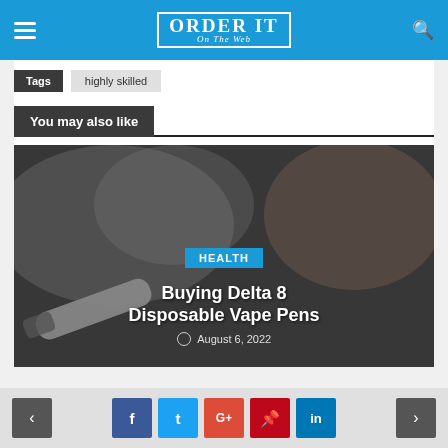Order It On The Web
Tags   highly skilled
You may also like
[Figure (photo): Person exhaling vape smoke while holding a disposable vape pen, dark background, close-up photo]
HEALTH
Buying Delta 8 Disposable Vape Pens
August 6, 2022
< f t G+ p in >